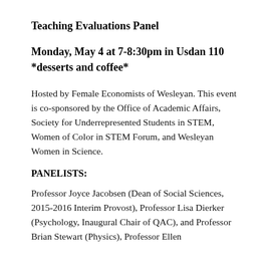Teaching Evaluations Panel
Monday, May 4 at 7-8:30pm in Usdan 110
*desserts and coffee*
Hosted by Female Economists of Wesleyan. This event is co-sponsored by the Office of Academic Affairs, Society for Underrepresented Students in STEM, Women of Color in STEM Forum, and Wesleyan Women in Science.
PANELISTS:
Professor Joyce Jacobsen (Dean of Social Sciences, 2015-2016 Interim Provost), Professor Lisa Dierker (Psychology, Inaugural Chair of QAC), and Professor Brian Stewart (Physics), Professor Ellen